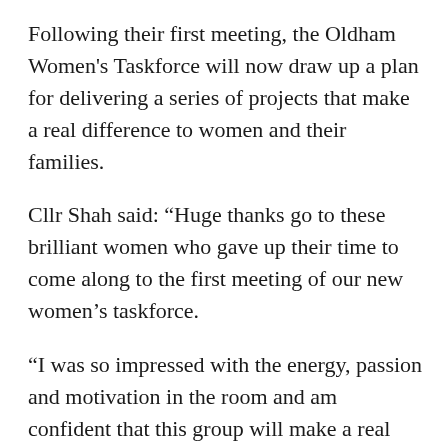Following their first meeting, the Oldham Women's Taskforce will now draw up a plan for delivering a series of projects that make a real difference to women and their families.
Cllr Shah said: “Huge thanks go to these brilliant women who gave up their time to come along to the first meeting of our new women’s taskforce.
“I was so impressed with the energy, passion and motivation in the room and am confident that this group will make a real difference in addressing issues of inequality, which sadly still exist here in the borough today.
“These talented and dedicated women care passionately, as I do, about our town and our